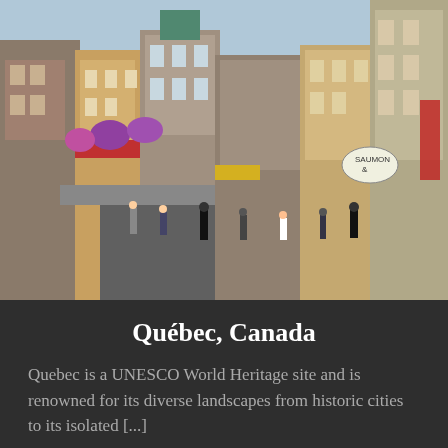[Figure (photo): Street scene in Old Quebec City with colorful historic buildings, flower baskets, shop signs, and tourists walking along a busy commercial street]
Québec, Canada
Quebec is a UNESCO World Heritage site and is renowned for its diverse landscapes from historic cities to its isolated [...]
34
[Figure (photo): Panoramic waterfront scene with dark forested shoreline reflected in calm blue water under a partly cloudy sky]